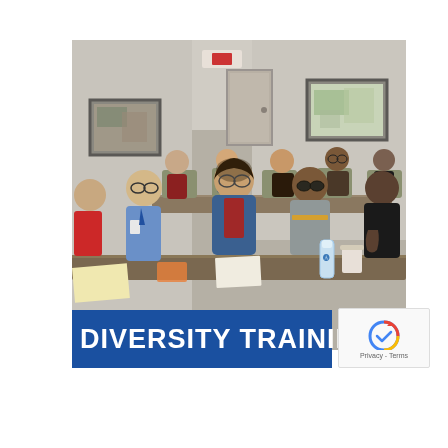[Figure (photo): A group of diverse people seated at tables in a conference or training room, appearing to listen to a presentation. Several people are visible, including a man with glasses in a blue shirt, a woman in a blue cardigan with glasses, and others. Papers, water bottles, and notebooks are on the table. Two framed pictures hang on the beige walls. A blue banner at the bottom of the image reads 'DIVERSITY TRAINING'. A reCAPTCHA badge appears in the lower right corner with 'Privacy - Terms' text.]
DIVERSITY TRAINING